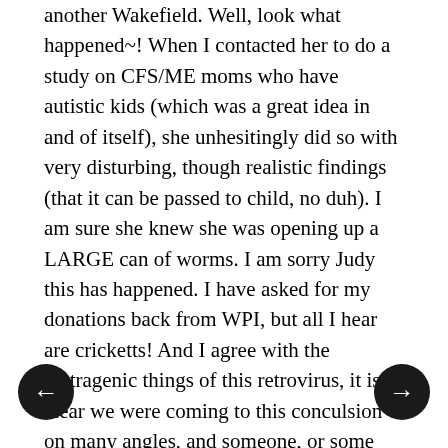another Wakefield. Well, look what happened~! When I contacted her to do a study on CFS/ME moms who have autistic kids (which was a great idea in and of itself), she unhesitingly did so with very disturbing, though realistic findings (that it can be passed to child, no duh). I am sure she knew she was opening up a LARGE can of worms. I am sorry Judy this has happened. I have asked for my donations back from WPI, but all I hear are cricketts! And I agree with the ioatragenic things of this retrovirus, it is clear we were coming to this conculsion on many angles, and someone, or some people, or some institution had to stop that in it's tracks! Hello predjudice! Hello saving your behind! Must stop truth at all cost~! UGH...